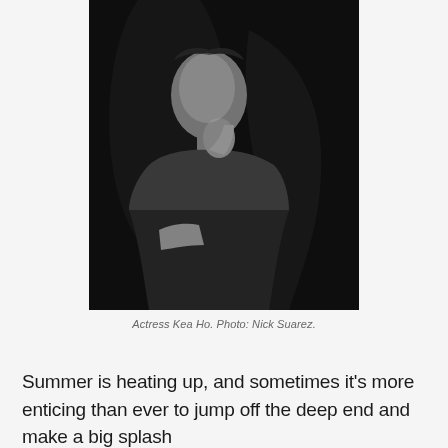[Figure (photo): Black and white portrait photograph of actress Kea Ho, a young woman with long dark hair, seated and resting her chin on her hand in a contemplative pose against a dark background.]
Actress Kea Ho. Photo: Nick Suarez.
Summer is heating up, and sometimes it's more enticing than ever to jump off the deep end and make a big splash